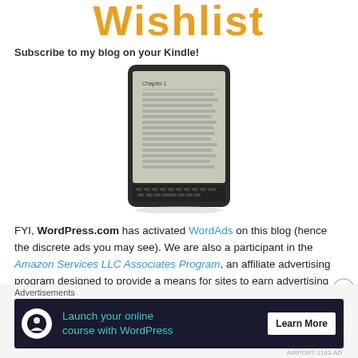Wishlist
Subscribe to my blog on your Kindle!
[Figure (photo): A Kindle e-reader device showing text content on screen]
FYI, WordPress.com has activated WordAds on this blog (hence the discrete ads you may see). We are also a participant in the Amazon Services LLC Associates Program, an affiliate advertising program designed to provide a means for sites to earn advertising fees by linking to amazon.com.
[Figure (infographic): Advertisement banner: Launch your online course with WordPress - Learn More button, dark blue background with teal text]